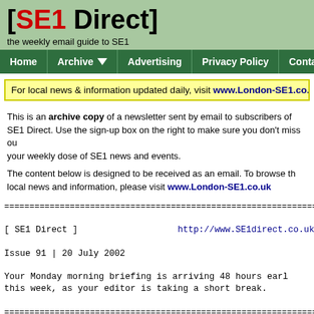[SE1 Direct]
the weekly email guide to SE1
Home | Archive | Advertising | Privacy Policy | Contact Us
For local news & information updated daily, visit www.London-SE1.co.uk
This is an archive copy of a newsletter sent by email to subscribers of SE1 Direct. Use the sign-up box on the right to make sure you don't miss out on your weekly dose of SE1 news and events.

The content below is designed to be received as an email. To browse the local news and information, please visit www.London-SE1.co.uk
[ SE1 Direct ]    http://www.SE1direct.co.uk

Issue 91 | 20 July 2002

Your Monday morning briefing is arriving 48 hours early this week, as your editor is taking a short break.

>> I N   T H I S   B U L L E T I N

* What's on this week
* SE1 news, features, & stories from London SE1 area...